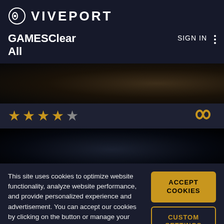[Figure (logo): Viveport logo with circular eye icon and VIVEPORT text in white]
GAMESClear
All
SIGN IN
[Figure (photo): Dark game banner image with dim brownish tones]
[Figure (other): Four filled gold stars and one empty star rating, with infinity symbol on the right]
[Figure (photo): Dark game screenshot with very dim blue-dark tones]
This site uses cookies to optimize website functionality, analyze website performance, and provide personalized experience and advertisement. You can accept our cookies by clicking on the button or manage your preference on "Cookie Preferences".
ACCEPT COOKIES
CUSTOM SETTINGS